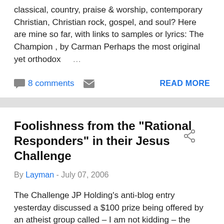classical, country, praise & worship, contemporary Christian, Christian rock, gospel, and soul? Here are mine so far, with links to samples or lyrics: The Champion , by Carman Perhaps the most original yet orthodox …
8 comments
READ MORE
Foolishness from the "Rational Responders" in their Jesus Challenge
By Layman - July 07, 2006
The Challenge JP Holding's anti-blog entry yesterday discussed a $100 prize being offered by an atheist group called – I am not kidding – the "Rational Responders": We are offering a $100 reward and an appearance on our radio show where we will admit we we're wrong to the person …